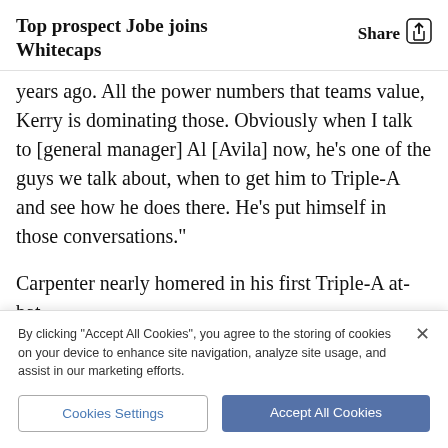Top prospect Jobe joins Whitecaps
years ago. All the power numbers that teams value, Kerry is dominating those. Obviously when I talk to [general manager] Al [Avila] now, he’s one of the guys we talk about, when to get him to Triple-A and see how he does there. He’s put himself in those conversations.”
Carpenter nearly homered in his first Triple-A at-bat,
By clicking “Accept All Cookies”, you agree to the storing of cookies on your device to enhance site navigation, analyze site usage, and assist in our marketing efforts.
Cookies Settings
Accept All Cookies